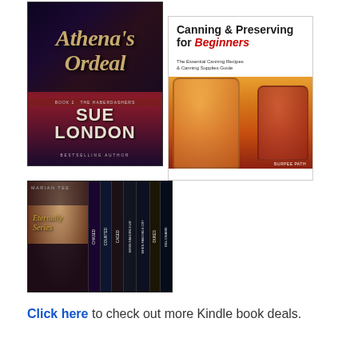[Figure (illustration): Book cover: Athena's Ordeal by Sue London, dark romantic cover with couple, bestselling author]
[Figure (illustration): Book cover: Canning & Preserving for Beginners, The Essential Canning Recipes & Canning Supplies Guide, Burpee Path publisher, showing mason jars with preserved food]
[Figure (illustration): Book cover: Boxed set by Marian Tee showing multiple books including Chased, Courted, Caged, When Fangirls Lie, When Fangirls Cry, Dukes, Billionaire]
Click here to check out more Kindle book deals.